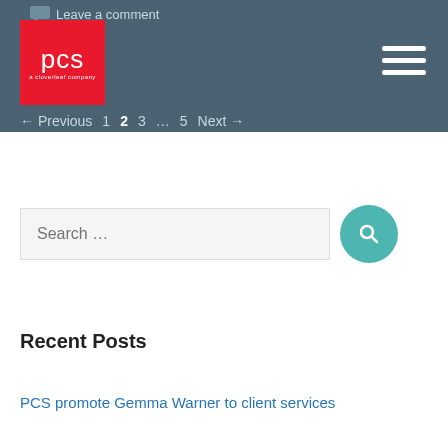[Figure (logo): PCS logo - red square with white 'pcs' text and 'a cloverleaf company' subtitle]
Leave a comment
← Previous  1  2  3  …  5  Next →
[Figure (screenshot): Search bar with teal search button]
Recent Posts
PCS promote Gemma Warner to client services